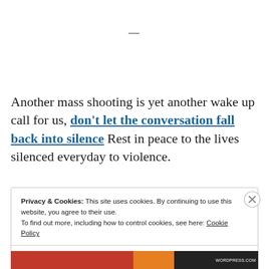—
Another mass shooting is yet another wake up call for us, don't let the conversation fall back into silence Rest in peace to the lives silenced everyday to violence.
Privacy & Cookies: This site uses cookies. By continuing to use this website, you agree to their use.
To find out more, including how to control cookies, see here: Cookie Policy
Close and accept